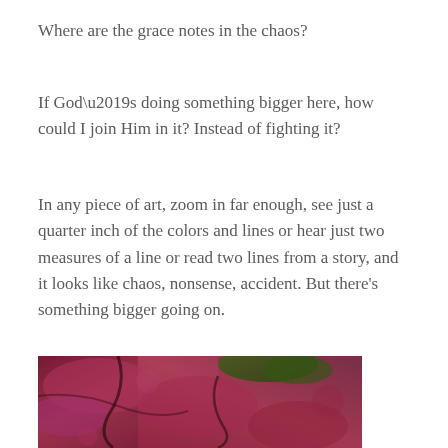Where are the grace notes in the chaos?
If God’s doing something bigger here, how could I join Him in it? Instead of fighting it?
In any piece of art, zoom in far enough, see just a quarter inch of the colors and lines or hear just two measures of a line or read two lines from a story, and it looks like chaos, nonsense, accident. But there’s something bigger going on.
[Figure (photo): Close-up abstract photograph of mixed red, pink, green, and dark textured colors, resembling a zoomed-in detail of a painting or artwork.]